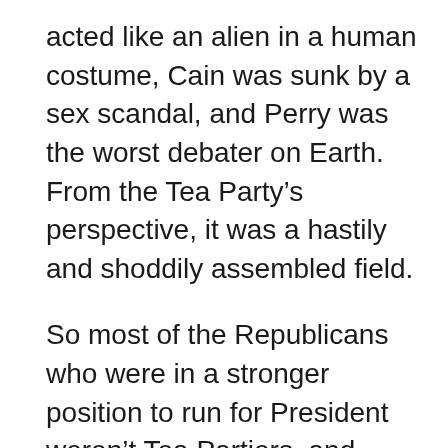acted like an alien in a human costume, Cain was sunk by a sex scandal, and Perry was the worst debater on Earth. From the Tea Party's perspective, it was a hastily and shoddily assembled field.
So most of the Republicans who were in a stronger position to run for President weren't Tea Partiers, and never faced any real pressure to rein in government spending, thus they don't have very conservative voting records on economic issues (Ron Paul's the exception). But in 2016, there will